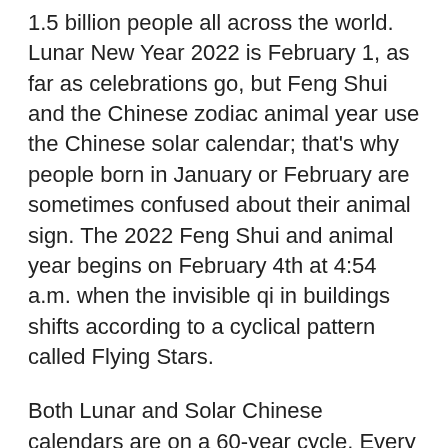1.5 billion people all across the world. Lunar New Year 2022 is February 1, as far as celebrations go, but Feng Shui and the Chinese zodiac animal year use the Chinese solar calendar; that's why people born in January or February are sometimes confused about their animal sign. The 2022 Feng Shui and animal year begins on February 4th at 4:54 a.m. when the invisible qi in buildings shifts according to a cyclical pattern called Flying Stars.
Both Lunar and Solar Chinese calendars are on a 60-year cycle. Every sixty years, history reveals similar events. The last time we had a Yang Water Tiger year was in 1962, and before that, a hundred and twenty years ago in 1902, and a hundred and eighty years ago in 1842. We can look back in history to see what happened in those years in terms of innovations in medicine and technology, the arts, in...